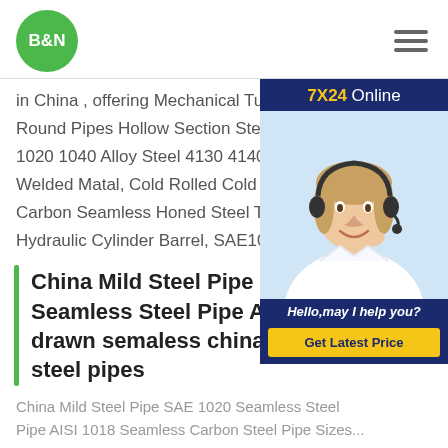[Figure (logo): B&N green circle logo]
[Figure (infographic): Hamburger menu icon with three horizontal lines]
in China , offering Mechanical Tube Ca... Round Pipes Hollow Section Steel Pric... 1020 1040 Alloy Steel 4130 4140 4145... Welded Matal, Cold Rolled Cold Drawn... Carbon Seamless Honed Steel Tube&... Hydraulic Cylinder Barrel, SAE1045, S...
[Figure (photo): Customer service chat widget showing a woman with headset, 7X24 Online header, Hello may I help you text, and Get Latest Price button]
China Mild Steel Pipe SAE 1020 Seamless Steel Pipe AISI 1020 cold drawn semaless china manufacture steel pipes
China Mild Steel Pipe SAE 1020 Seamless Steel Pipe AISI 1018 Seamless Carbon Steel Pipe Sizes...